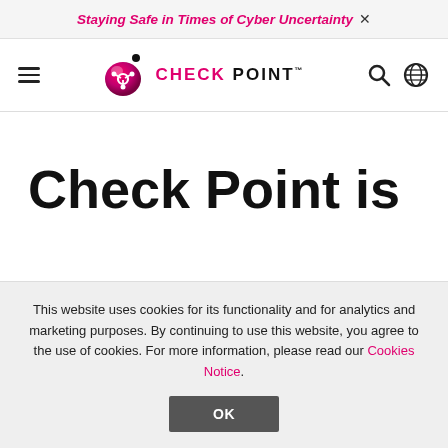Staying Safe in Times of Cyber Uncertainty ×
[Figure (logo): Check Point software logo with pink/red gradient shield-like bubble icon and black dot, with 'CHECK POINT' text in bold uppercase]
Check Point is
This website uses cookies for its functionality and for analytics and marketing purposes. By continuing to use this website, you agree to the use of cookies. For more information, please read our Cookies Notice.
OK